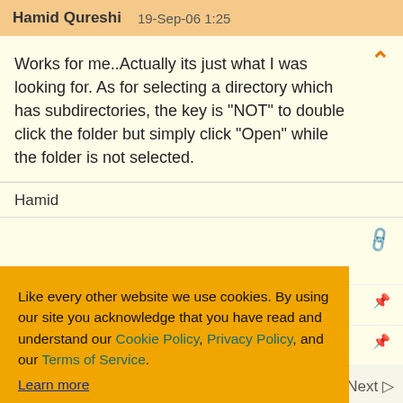Hamid Qureshi   19-Sep-06 1:25
Works for me..Actually its just what I was looking for. As for selecting a directory which has subdirectories, the key is "NOT" to double click the folder but simply click "Open" while the folder is not selected.
Hamid
Like every other website we use cookies. By using our site you acknowledge that you have read and understand our Cookie Policy, Privacy Policy, and our Terms of Service.
Learn more
Ask me later
Decline
Allow cookies
1  2  3  Next ▷